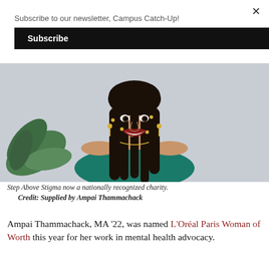Subscribe to our newsletter, Campus Catch-Up!
Subscribe
[Figure (photo): Young woman with long braids wearing a teal off-shoulder dress, smiling, with a plant in the background. Photo of Ampai Thammachack.]
Step Above Stigma now a nationally recognized charity.
Credit: Supplied by Ampai Thammachack
Ampai Thammachack, MA ’22, was named L’Oréal Paris Woman of Worth this year for her work in mental health advocacy.